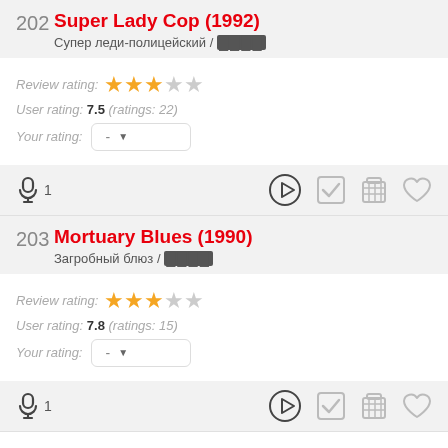202 Super Lady Cop (1992) / Супер леди-полицейский / [REDACTED]
Review rating: 3/5 stars
User rating: 7.5 (ratings: 22)
Your rating: -
1
203 Mortuary Blues (1990) / Загробный блюз / [REDACTED]
Review rating: 3/5 stars
User rating: 7.8 (ratings: 15)
Your rating: -
1